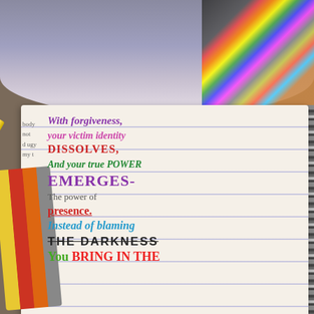[Figure (photo): Photograph of an open spiral notebook with handwritten inspirational text in multiple colors, surrounded by crayons and markers, with a purple stuffed elephant toy at the top]
With forgiveness, your victim identity DISSOLVES, And your true POWER EMERGES- The power of presence. Instead of blaming THE DARKNESS YOU BRING IN THE